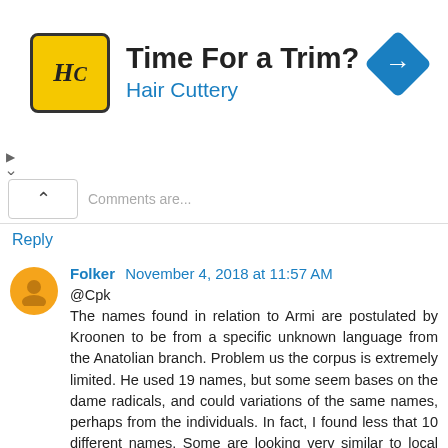[Figure (screenshot): Advertisement banner for Hair Cuttery with logo, tagline 'Time For a Trim?' and a blue direction arrow icon.]
Reply
Folker  November 4, 2018 at 11:57 AM
@Cpk
The names found in relation to Armi are postulated by Kroonen to be from a specific unknown language from the Anatolian branch. Problem us the corpus is extremely limited. He used 19 names, but some seem bases on the dame radicals, and could variations of the same names, perhaps from the individuals. In fact, I found less that 10 different names. Some are looking very similar to local semitics names. Others have only one occurence. And even of some could be seen as Anatolian, it does not mean IE. First Hittites names are not easily translated in IE